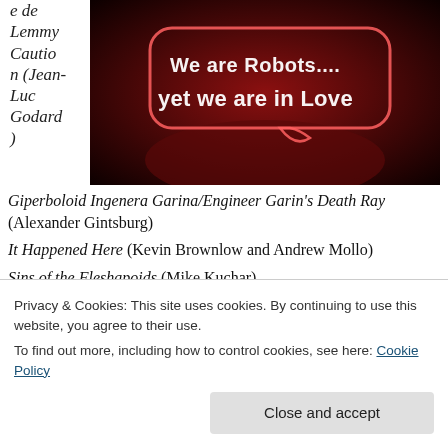e de Lemmy Caution (Jean-Luc Godard)
[Figure (photo): Neon sign reading 'We are Robots.... yet we are in Love' on a dark red background]
Giperboloid Ingenera Garina/Engineer Garin's Death Ray (Alexander Gintsburg)
It Happened Here (Kevin Brownlow and Andrew Mollo)
Sins of the Fleshapoids (Mike Kuchar)
Terrore nello Spazio/Planet of the Vampires (Mario
Privacy & Cookies: This site uses cookies. By continuing to use this website, you agree to their use.
To find out more, including how to control cookies, see here: Cookie Policy